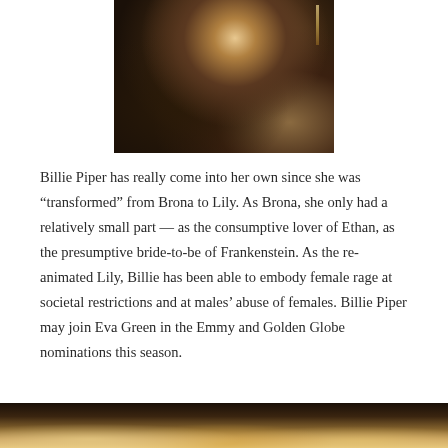[Figure (photo): Dark, candlelit scene with a person visible in the background, likely a still from a period TV show]
Billie Piper has really come into her own since she was “transformed” from Brona to Lily. As Brona, she only had a relatively small part — as the consumptive lover of Ethan, as the presumptive bride-to-be of Frankenstein. As the re-animated Lily, Billie has been able to embody female rage at societal restrictions and at males’ abuse of females. Billie Piper may join Eva Green in the Emmy and Golden Globe nominations this season.
[Figure (photo): Dark candlelit scene, bottom portion of image partially visible at the bottom of the page]